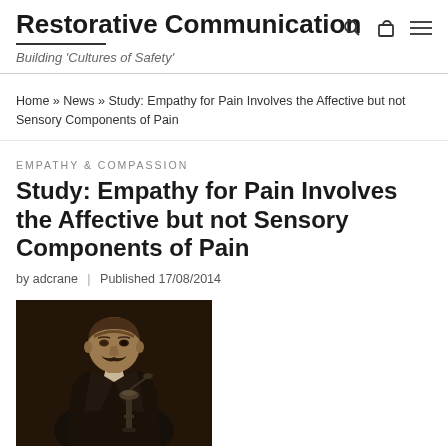Restorative Communication
Building 'Cultures of Safety'
Home » News » Study: Empathy for Pain Involves the Affective but not Sensory Components of Pain
EMPATHY & COMPASSION
Study: Empathy for Pain Involves the Affective but not Sensory Components of Pain
by adcrane  |  Published 17/08/2014
[Figure (photo): Black and white / dark sepia photograph of a man with a moustache wearing a dark jacket, seated near what appears to be a microscope or scientific equipment, in a dimly lit setting.]